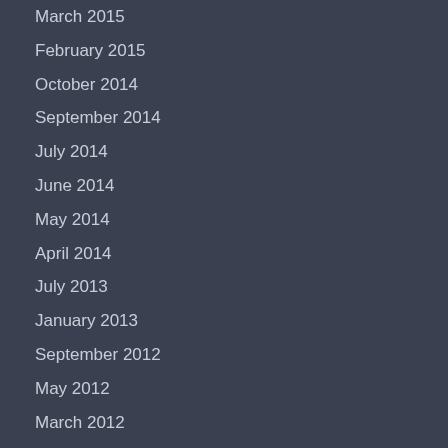March 2015
February 2015
October 2014
September 2014
July 2014
June 2014
May 2014
April 2014
July 2013
January 2013
September 2012
May 2012
March 2012
February 2012
January 2012
December 2011
November 2011